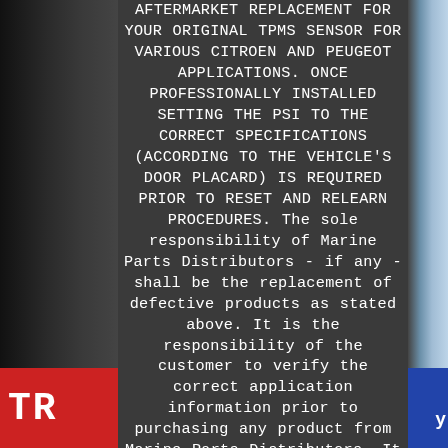THIS IS A DIRECT FIT, PROGRAMMABLE AFTERMARKET REPLACEMENT FOR YOUR ORIGINAL TPMS SENSOR FOR VARIOUS CITROEN AND PEUGEOT APPLICATIONS. ONCE PROFESSIONALLY INSTALLED SETTING THE PSI TO THE CORRECT SPECIFICATIONS (ACCORDING TO THE VEHICLE'S DOOR PLACARD) IS REQUIRED PRIOR TO RESET AND RELEARN PROCEDURES. The sole responsibility of Marine Parts Distributors - if any - shall be the replacement of defective products as stated above. It is the responsibility of the customer to verify the correct application information prior to purchasing any product from Marine Parts Distributors. It is the responsibility of the customer to verify the correct application information prior to purchasing any product from